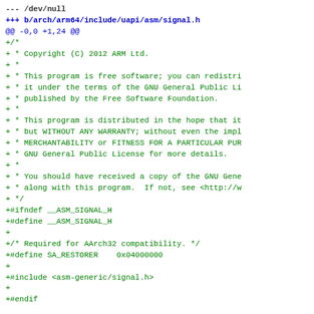--- /dev/null
+++ b/arch/arm64/include/uapi/asm/signal.h
@@ -0,0 +1,24 @@
+/*
+ * Copyright (C) 2012 ARM Ltd.
+ *
+ * This program is free software; you can redistri
+ * it under the terms of the GNU General Public Li
+ * published by the Free Software Foundation.
+ *
+ * This program is distributed in the hope that it
+ * but WITHOUT ANY WARRANTY; without even the impl
+ * MERCHANTABILITY or FITNESS FOR A PARTICULAR PUR
+ * GNU General Public License for more details.
+ *
+ * You should have received a copy of the GNU Gene
+ * along with this program.  If not, see <http://w
+ */
+#ifndef __ASM_SIGNAL_H
+#define __ASM_SIGNAL_H
+
+/* Required for AArch32 compatibility. */
+#define SA_RESTORER    0x04000000
+
+#include <asm-generic/signal.h>
+
+#endif

diff --git a/arch/arm64/include/uapi/asm/stat.h b/a
new file mode 100644